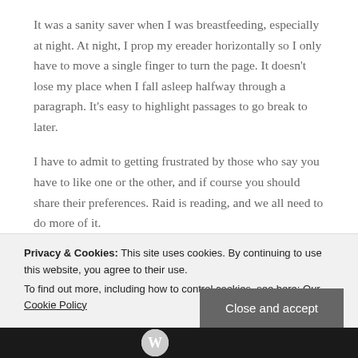It was a sanity saver when I was breastfeeding, especially at night. At night, I prop my ereader horizontally so I only have to move a single finger to turn the page. It doesn't lose my place when I fall asleep halfway through a paragraph. It's easy to highlight passages to go break to later.
I have to admit to getting frustrated by those who say you have to like one or the other, and if course you should share their preferences. Raid is reading, and we all need to do more of it.
Privacy & Cookies: This site uses cookies. By continuing to use this website, you agree to their use.
To find out more, including how to control cookies, see here: Our Cookie Policy
Close and accept